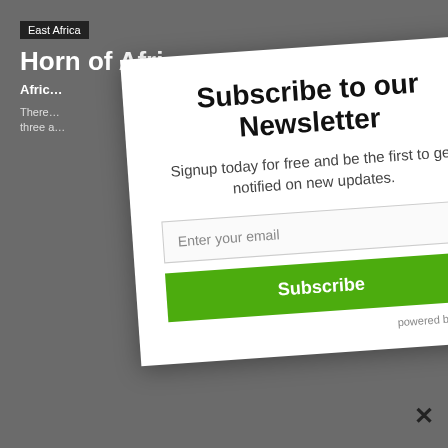[Figure (screenshot): Background webpage showing East Africa article titled 'Horn of Africa' with dark gray overlay]
Subscribe to our Newsletter
Signup today for free and be the first to get notified on new updates.
Enter your email
Subscribe
powered by Mail